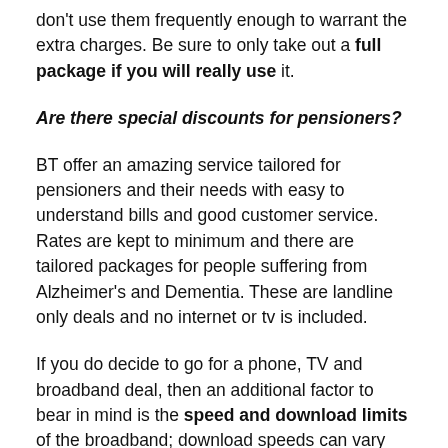don't use them frequently enough to warrant the extra charges. Be sure to only take out a full package if you will really use it.
Are there special discounts for pensioners?
BT offer an amazing service tailored for pensioners and their needs with easy to understand bills and good customer service. Rates are kept to minimum and there are tailored packages for people suffering from Alzheimer's and Dementia. These are landline only deals and no internet or tv is included.
If you do decide to go for a phone, TV and broadband deal, then an additional factor to bear in mind is the speed and download limits of the broadband; download speeds can vary wildly from provider to provider, and download limits may see you receive a nasty bill should you go over the set